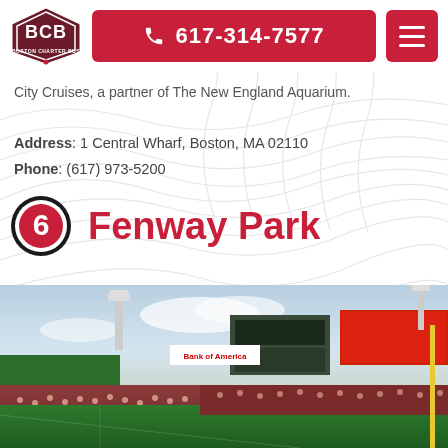[Figure (logo): BCB Boston Charter Bus hexagon logo]
617-314-7577
City Cruises, a partner of The New England Aquarium.
Address: 1 Central Wharf, Boston, MA 02110
Phone: (617) 973-5200
6 Fenway Park
[Figure (photo): Panoramic photo of Fenway Park stadium interior showing the field, scoreboard, Bank of America sign, and crowd]